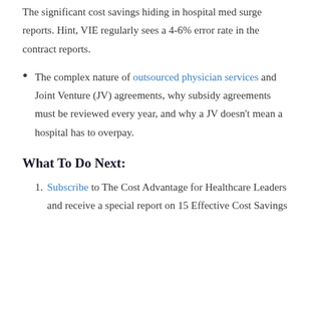The significant cost savings hiding in hospital med surge reports. Hint, VIE regularly sees a 4-6% error rate in the contract reports.
The complex nature of outsourced physician services and Joint Venture (JV) agreements, why subsidy agreements must be reviewed every year, and why a JV doesn't mean a hospital has to overpay.
What To Do Next:
Subscribe to The Cost Advantage for Healthcare Leaders and receive a special report on 15 Effective Cost Savings